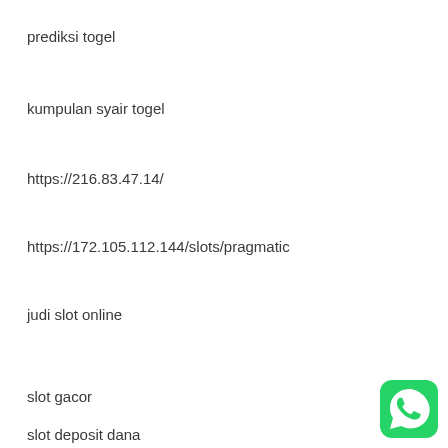prediksi togel
kumpulan syair togel
https://216.83.47.14/
https://172.105.112.144/slots/pragmatic
judi slot online
slot gacor
slot deposit dana
[Figure (logo): WhatsApp icon button (green rounded square with white phone handset inside speech bubble)]